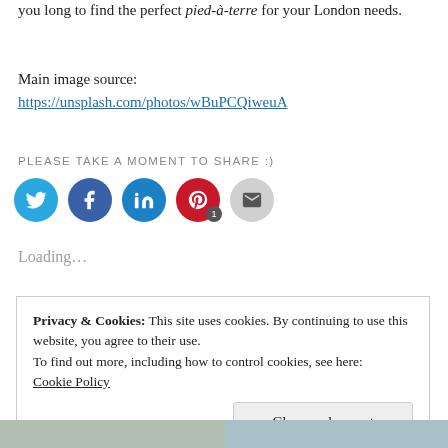you long to find the perfect pied-à-terre for your London needs.
Main image source:
https://unsplash.com/photos/wBuPCQiweuA
PLEASE TAKE A MOMENT TO SHARE :)
[Figure (infographic): Social share buttons: Twitter (blue circle), Facebook (blue circle), LinkedIn (blue circle), Pinterest (red circle with badge '1'), Email (grey circle)]
Loading...
Privacy & Cookies: This site uses cookies. By continuing to use this website, you agree to their use.
To find out more, including how to control cookies, see here:
Cookie Policy

Close and accept
[Figure (photo): Two partial thumbnail images at the bottom of the page]